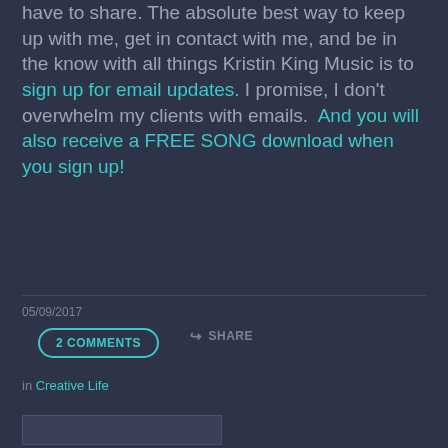have to share. The absolute best way to keep up with me, get in contact with me, and be in the know with all things Kristin King Music is to sign up for email updates. I promise, I don't overwhelm my clients with emails.  And you will also receive a FREE SONG download when you sign up!
05/09/2017
2 COMMENTS
SHARE
in Creative Life